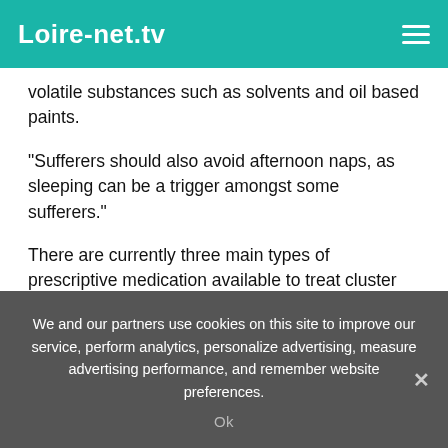Loire-net.tv
volatile substances such as solvents and oil based paints.
“Sufferers should also avoid afternoon naps, as sleeping can be a trigger amongst some sufferers.”
There are currently three main types of prescriptive medication available to treat cluster headaches.
The first is abortive medication, which are drugs that help to stop individual attacks.
They are administered through the lungs or nose or by
We and our partners use cookies on this site to improve our service, perform analytics, personalize advertising, measure advertising performance, and remember website preferences.